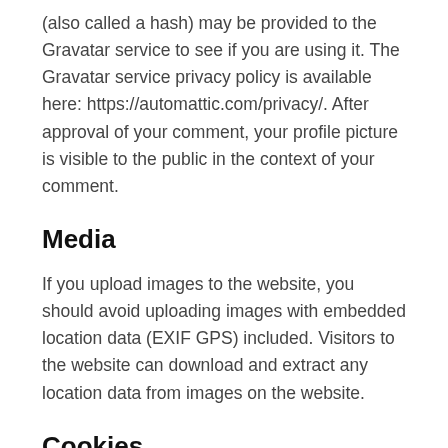(also called a hash) may be provided to the Gravatar service to see if you are using it. The Gravatar service privacy policy is available here: https://automattic.com/privacy/. After approval of your comment, your profile picture is visible to the public in the context of your comment.
Media
If you upload images to the website, you should avoid uploading images with embedded location data (EXIF GPS) included. Visitors to the website can download and extract any location data from images on the website.
Cookies
If you leave a comment on our site you may opt-in to saving your name, email address and website in cookies.